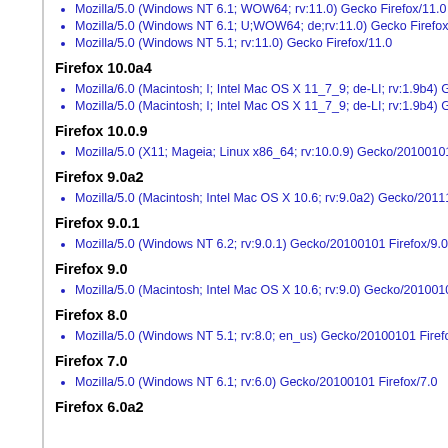Mozilla/5.0 (Windows NT 6.1; WOW64; rv:11.0) Gecko Firefox/11.0
Mozilla/5.0 (Windows NT 6.1; U;WOW64; de;rv:11.0) Gecko Firefox/11.0
Mozilla/5.0 (Windows NT 5.1; rv:11.0) Gecko Firefox/11.0
Firefox 10.0a4
Mozilla/6.0 (Macintosh; I; Intel Mac OS X 11_7_9; de-LI; rv:1.9b4) Gecko/20120103
Mozilla/5.0 (Macintosh; I; Intel Mac OS X 11_7_9; de-LI; rv:1.9b4) Gecko/20120103
Firefox 10.0.9
Mozilla/5.0 (X11; Mageia; Linux x86_64; rv:10.0.9) Gecko/20100101 Firefox/10.0.9
Firefox 9.0a2
Mozilla/5.0 (Macintosh; Intel Mac OS X 10.6; rv:9.0a2) Gecko/20111101 Firefox/9.0
Firefox 9.0.1
Mozilla/5.0 (Windows NT 6.2; rv:9.0.1) Gecko/20100101 Firefox/9.0.1
Firefox 9.0
Mozilla/5.0 (Macintosh; Intel Mac OS X 10.6; rv:9.0) Gecko/20100101 Firefox/9.0
Firefox 8.0
Mozilla/5.0 (Windows NT 5.1; rv:8.0; en_us) Gecko/20100101 Firefox/8.0
Firefox 7.0
Mozilla/5.0 (Windows NT 6.1; rv:6.0) Gecko/20100101 Firefox/7.0
Firefox 6.0a2